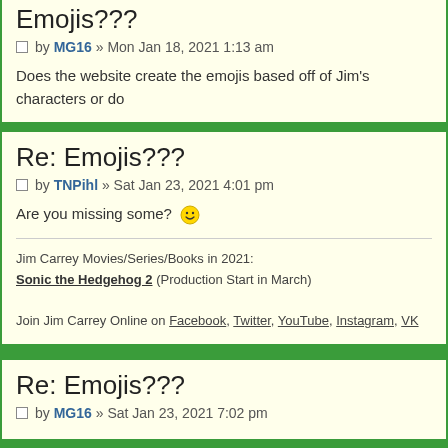Emojis???
by MG16 » Mon Jan 18, 2021 1:13 am
Does the website create the emojis based off of Jim's characters or do
Re: Emojis???
by TNPihl » Sat Jan 23, 2021 4:01 pm
Are you missing some? 😀
Jim Carrey Movies/Series/Books in 2021:
Sonic the Hedgehog 2 (Production Start in March)

Join Jim Carrey Online on Facebook, Twitter, YouTube, Instagram, VK
Re: Emojis???
by MG16 » Sat Jan 23, 2021 7:02 pm